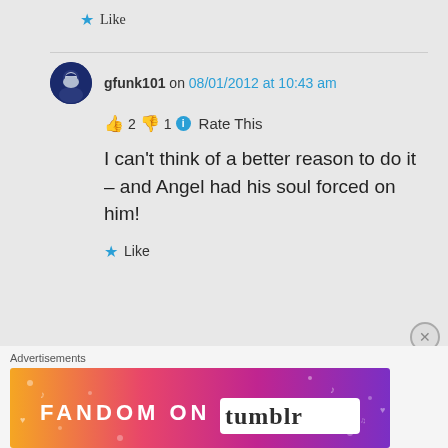★ Like
gfunk101 on 08/01/2012 at 10:43 am
👍 2 👎 1 ℹ Rate This
I can't think of a better reason to do it – and Angel had his soul forced on him!
★ Like
Advertisements
[Figure (screenshot): FANDOM ON tumblr advertisement banner with colorful orange, pink, and purple background with decorative icons]